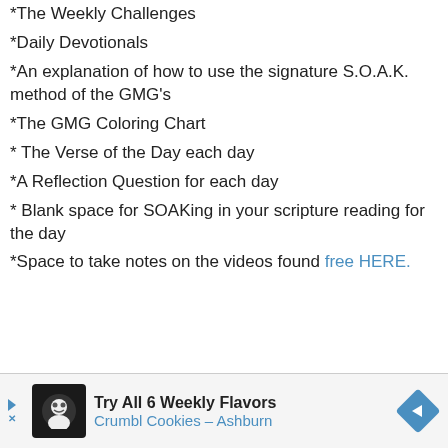*The Weekly Challenges
*Daily Devotionals
*An explanation of how to use the signature S.O.A.K. method of the GMG's
*The GMG Coloring Chart
* The Verse of the Day each day
*A Reflection Question for each day
* Blank space for SOAKing in your scripture reading for the day
*Space to take notes on the videos found free HERE.
[Figure (infographic): Advertisement bar for Crumbl Cookies - Ashburn: Try All 6 Weekly Flavors, with logo, arrow navigation and directional diamond icon]